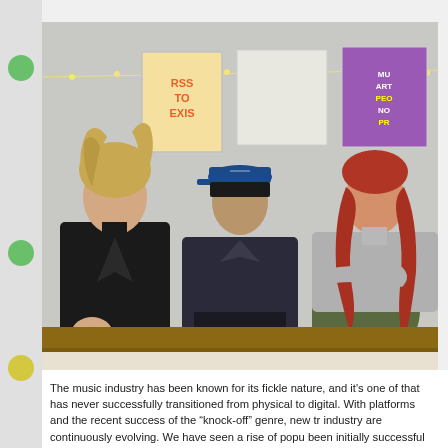[Figure (photo): Three young people (a band) sitting against a white wall decorated with string lights and colorful posters. From left: a person with messy blonde hair wearing a black leather jacket; center: a person in a dark hoodie and blue baseball cap; right: a young woman with long red wavy hair wearing a grey sweater and olive pants.]
The music industry has been known for its fickle nature, and it's one of that has never successfully transitioned from physical to digital. With platforms and the recent success of the "knock-off" genre, new tr industry are continuously evolving. We have seen a rise of popu been initially successful through traditional music industry promo "Knock-off" artists. We have also seen the rise of artists who have